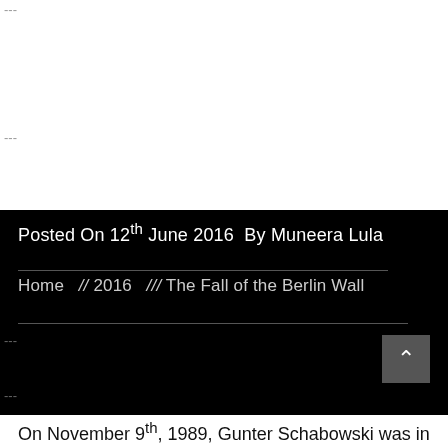---
---
---
Posted On 12th June 2016  By Muneera Lula
Home  //2016  ///The Fall of the Berlin Wall
---
---
---
On November 9th, 1989, Gunter Schabowski was in a